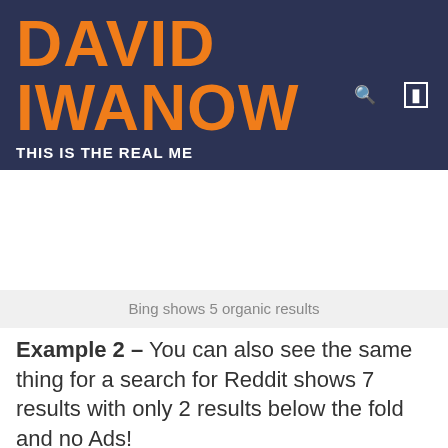DAVID IWANOW
THIS IS THE REAL ME
Bing shows 5 organic results
Example 2 – You can also see the same thing for a search for Reddit shows 7 results with only 2 results below the fold and no Ads!